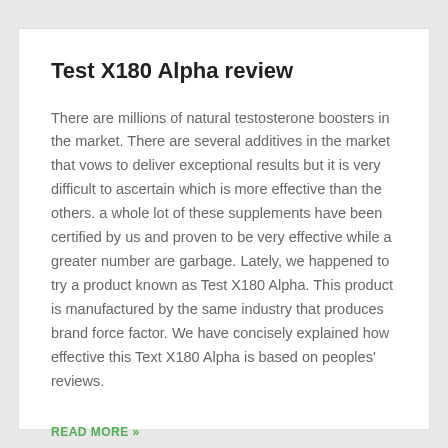Test X180 Alpha review
There are millions of natural testosterone boosters in the market. There are several additives in the market that vows to deliver exceptional results but it is very difficult to ascertain which is more effective than the others. a whole lot of these supplements have been certified by us and proven to be very effective while a greater number are garbage. Lately, we happened to try a product known as Test X180 Alpha. This product is manufactured by the same industry that produces brand force factor. We have concisely explained how effective this Text X180 Alpha is based on peoples' reviews.
READ MORE »